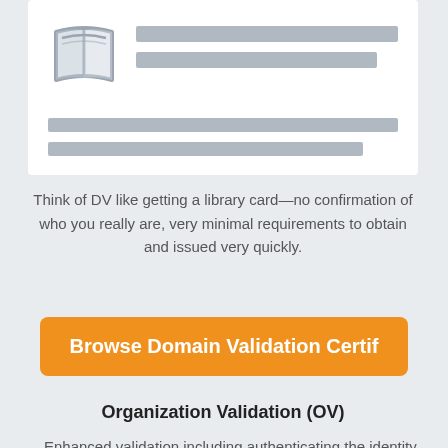[Figure (illustration): Library card / book icon with two gray placeholder text lines beside it and two gray body text placeholder lines below]
Think of DV like getting a library card—no confirmation of who you really are, very minimal requirements to obtain and issued very quickly.
Browse Domain Validation Certif
Organization Validation (OV)
Enhanced validation including authenticating the identity of the applicant
Issued within one day